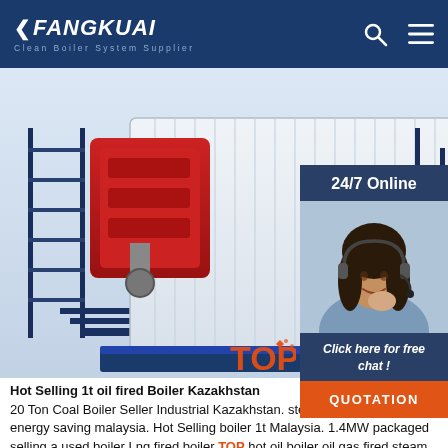FANGKUAI - Clean Boiler System Supplier
[Figure (photo): Industrial coal/oil fired boiler unit in white and red, mounted on blue base with stairs and scaffolding. Company product photo.]
[Figure (photo): Customer service representative with headset, 24/7 Online chat widget with 'Click here for free chat!' and QUOTATION button overlay on right side of page.]
Hot Selling 1t oil fired Boiler Kazakhstan
20 Ton Coal Boiler Seller Industrial Kazakhstan. steam boiler hot selling 1t energy saving malaysia. Hot Selling boiler 1t Malaysia. 1.4MW packaged selling a used boiler Lng fired boiler Top hot oil boiler oil gas fired steam boiler and biomass water tube steam boiler is also suitable for textile factories. 1.4mw boiler in Food Industry. 1.4mw boiler is very important for food processing ...